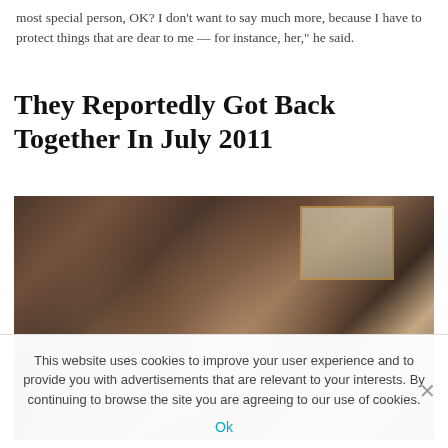most special person, OK? I don't want to say much more, because I have to protect things that are dear to me — for instance, her," he said.
They Reportedly Got Back Together In July 2011
[Figure (photo): Photo of a couple (woman on left, man on right) smiling closely together at what appears to be an indoor event. Dark background with warm lighting.]
This website uses cookies to improve your user experience and to provide you with advertisements that are relevant to your interests. By continuing to browse the site you are agreeing to our use of cookies.
Ok